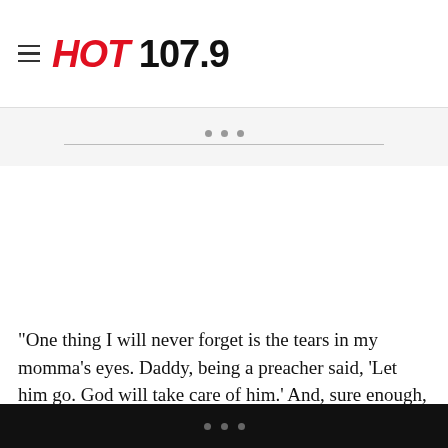HOT 107.9
“One thing I will never forget is the tears in my momma’s eyes. Daddy, being a preacher said, ‘Let him go. God will take care of him.’ And, sure enough, God took care of us,” Rankin said.
His memories were of March 7, 1965. John Rankin and a group of African-Americans of all ages had decided to march from